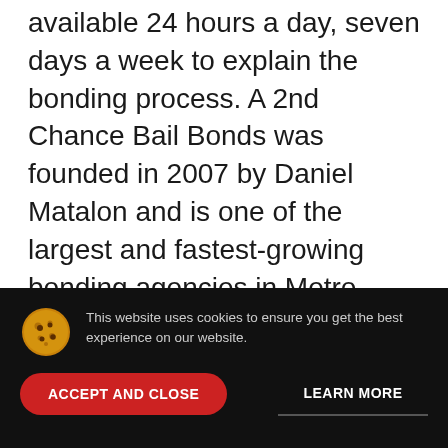available 24 hours a day, seven days a week to explain the bonding process. A 2nd Chance Bail Bonds was founded in 2007 by Daniel Matalon and is one of the largest and fastest-growing bonding agencies in Metro Atlanta with an average of 20 percent annual growth. The family-owned firm currently operates four locations and employs 25. For more information, please visit www.a2ndchancebailbonds.com.
This website uses cookies to ensure you get the best experience on our website.
ACCEPT AND CLOSE
LEARN MORE